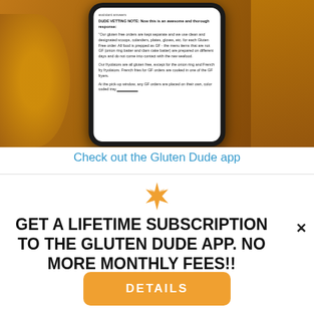[Figure (photo): Photo of a hand holding a smartphone displaying the Gluten Dude app with text about gluten free order handling procedures]
Check out the Gluten Dude app
GET A LIFETIME SUBSCRIPTION TO THE GLUTEN DUDE APP. NO MORE MONTHLY FEES!!
DETAILS